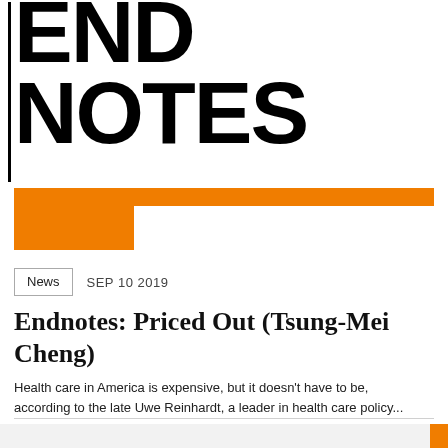END NOTES
News   SEP 10 2019
Endnotes: Priced Out (Tsung-Mei Cheng)
Health care in America is expensive, but it doesn't have to be, according to the late Uwe Reinhardt, a leader in health care policy...